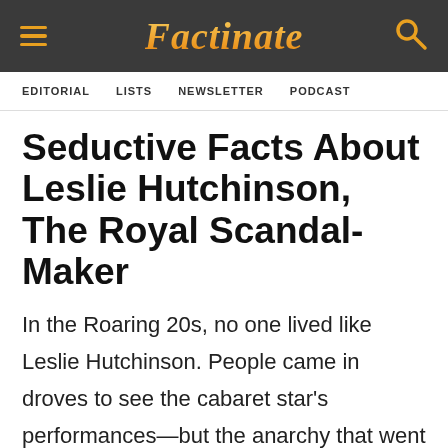Factinate — EDITORIAL  LISTS  NEWSLETTER  PODCAST
Seductive Facts About Leslie Hutchinson, The Royal Scandal-Maker
In the Roaring 20s, no one lived like Leslie Hutchinson. People came in droves to see the cabaret star's performances—but the anarchy that went on in his crowds was nothi[ng]
[Figure (other): Advertisement banner: 'Your next hotel is waiting for you' with background photo of a hotel/resort building]